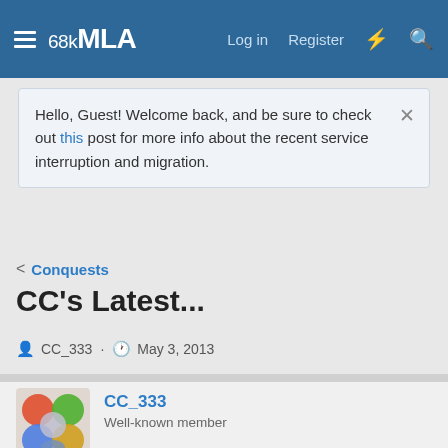68kMLA — Log in   Register
Hello, Guest! Welcome back, and be sure to check out this post for more info about the recent service interruption and migration.
< Conquests
CC's Latest...
CC_333 · May 3, 2013
CC_333
Well-known member
May 3, 2013
#2
Might as well start one of my own "Latest..." topics.

I received in the mail today: